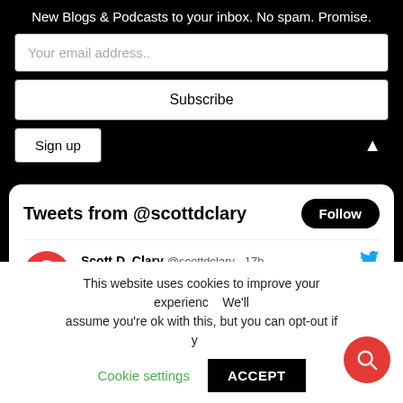New Blogs & Podcasts to your inbox. No spam. Promise.
Your email address..
Subscribe
Sign up
Tweets from @scottdclary
Follow
Scott D. Clary @scottdclary · 17h
The difference between competition and excellence.
This website uses cookies to improve your experience. We'll assume you're ok with this, but you can opt-out if you wish.
Cookie settings
ACCEPT